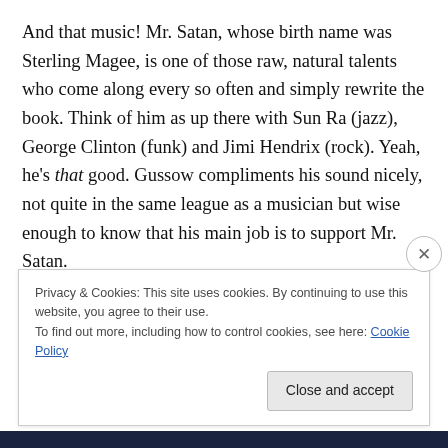And that music! Mr. Satan, whose birth name was Sterling Magee, is one of those raw, natural talents who come along every so often and simply rewrite the book. Think of him as up there with Sun Ra (jazz), George Clinton (funk) and Jimi Hendrix (rock). Yeah, he's that good. Gussow compliments his sound nicely, not quite in the same league as a musician but wise enough to know that his main job is to support Mr. Satan.
Needless to say, a guy who calls himself Mr. Satan is kind of an interesting cat and you'll be captivated by him.
Privacy & Cookies: This site uses cookies. By continuing to use this website, you agree to their use.
To find out more, including how to control cookies, see here: Cookie Policy
Close and accept